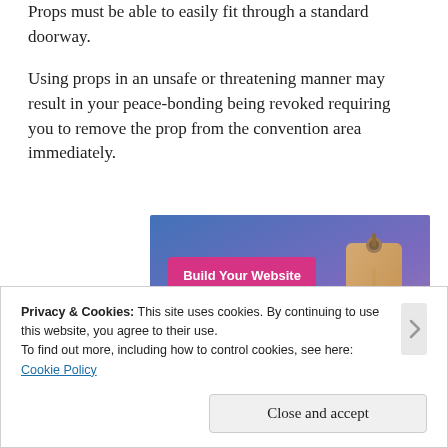Props must be able to easily fit through a standard doorway.
Using props in an unsafe or threatening manner may result in your peace-bonding being revoked requiring you to remove the prop from the convention area immediately.
[Figure (illustration): Advertisement banner with blue-to-purple gradient background, a pink 'Build Your Website' button on the left, and a tan/brown price tag icon on the right.]
Privacy & Cookies: This site uses cookies. By continuing to use this website, you agree to their use.
To find out more, including how to control cookies, see here:
Cookie Policy
Close and accept